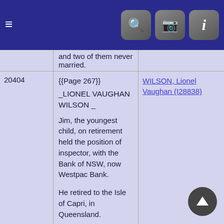Navigation bar with hamburger menu and search, camera, info icons
and two of them never married.
| ID | Content | Link |
| --- | --- | --- |
| 20404 | {{Page 267}}
_LIONEL VAUGHAN WILSON _

Jim, the youngest child, on retirement held the position of inspector, with the Bank of NSW, now Westpac Bank.

He retired to the Isle of Capri, in Queensland.

Passed away on the same day as the celebrated star of Radio and Television - Bob Dyer.

Jim was aged 86 years.

The family lived at Lindfield when the children were young and later were moved to Perth and Melbourne.

Returning to Sydney some years later, they resided at | WILSON, Lionel Vaughan (I28838) |